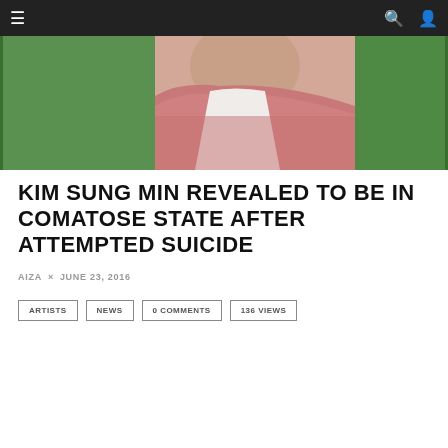≡  🔍 👤
[Figure (photo): Close-up photo of a man wearing a pink/red collared shirt, with green foliage in the background. Only the neck and chest area is visible.]
KIM SUNG MIN REVEALED TO BE IN COMATOSE STATE AFTER ATTEMPTED SUICIDE
AIZA × JUNE 23, 2016
ARTISTS  NEWS  0 COMMENTS  136 VIEWS